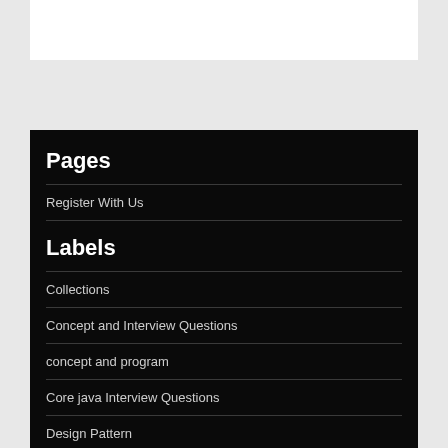Pages
Register With Us
Labels
Collections
Concept and Interview Questions
concept and program
Core java Interview Questions
Design Pattern
Find Output of Program
Java 8
Java EE